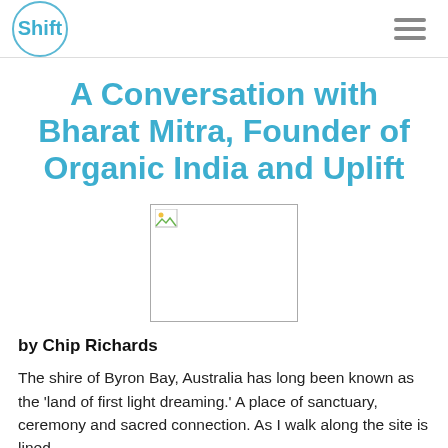Shift
A Conversation with Bharat Mitra, Founder of Organic India and Uplift
[Figure (photo): A placeholder image box with a small broken image icon in the top-left corner]
by Chip Richards
The shire of Byron Bay, Australia has long been known as the 'land of first light dreaming.' A place of sanctuary, ceremony and sacred connection. As I walk along the site is lined